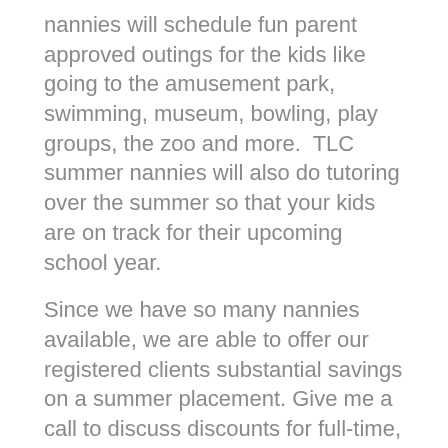nannies will schedule fun parent approved outings for the kids like going to the amusement park, swimming, museum, bowling, play groups, the zoo and more.  TLC summer nannies will also do tutoring over the summer so that your kids are on track for their upcoming school year.
Since we have so many nannies available, we are able to offer our registered clients substantial savings on a summer placement. Give me a call to discuss discounts for full-time, part-time, and long term temp (up to two months) placements.
Click on our summer nanny parent application to start your search. If you have any questions please give us a call.